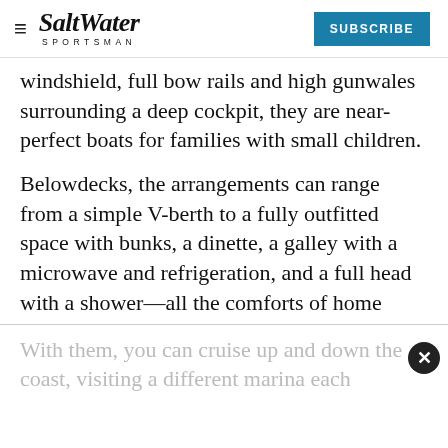Salt Water Sportsman | SUBSCRIBE
windshield, full bow rails and high gunwales surrounding a deep cockpit, they are near-perfect boats for families with small children.
Belowdecks, the arrangements can range from a simple V-berth to a fully outfitted space with bunks, a dinette, a galley with a microwave and refrigeration, and a full head with a shower—all the comforts of home
With them, you can cruise up and down the coast, visiting a different marina each